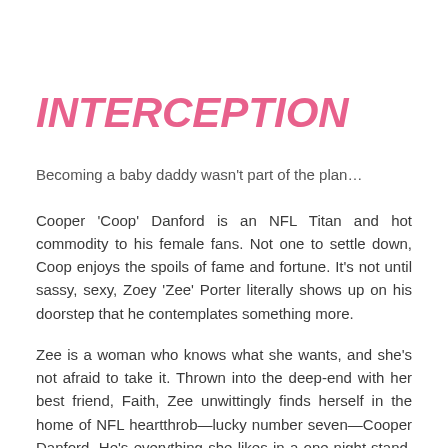INTERCEPTION
Becoming a baby daddy wasn't part of the plan…
Cooper 'Coop' Danford is an NFL Titan and hot commodity to his female fans. Not one to settle down, Coop enjoys the spoils of fame and fortune. It's not until sassy, sexy, Zoey 'Zee' Porter literally shows up on his doorstep that he contemplates something more.
Zee is a woman who knows what she wants, and she's not afraid to take it. Thrown into the deep-end with her best friend, Faith, Zee unwittingly finds herself in the home of NFL heartthrob—lucky number seven—Cooper Danford. He's everything she likes in a one-night-stand. He's hot, ripped, and ready to show a girl a good time. After a sizzling weekend fling, Zee is keen to leave